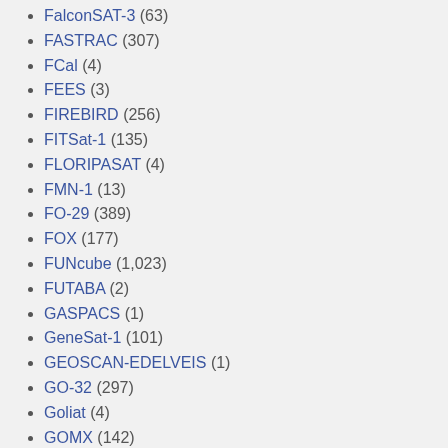FalconSAT-3 (63)
FASTRAC (307)
FCal (4)
FEES (3)
FIREBIRD (256)
FITSat-1 (135)
FLORIPASAT (4)
FMN-1 (13)
FO-29 (389)
FOX (177)
FUNcube (1,023)
FUTABA (2)
GASPACS (1)
GeneSat-1 (101)
GEOSCAN-EDELVEIS (1)
GO-32 (297)
Goliat (4)
GOMX (142)
GRBAlpha (6)
GREENCUBE (9)
GRIFEX (407)